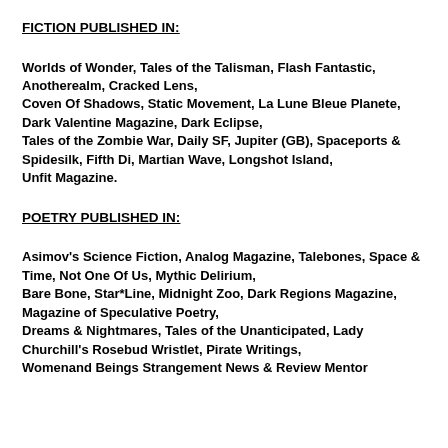FICTION PUBLISHED IN:
Worlds of Wonder, Tales of the Talisman, Flash Fantastic, Anotherealm, Cracked Lens, Coven Of Shadows, Static Movement, La Lune Bleue Planete, Dark Valentine Magazine, Dark Eclipse, Tales of the Zombie War, Daily SF, Jupiter (GB), Spaceports & Spidesilk, Fifth Di, Martian Wave, Longshot Island, Unfit Magazine.
POETRY PUBLISHED IN:
Asimov's Science Fiction, Analog Magazine, Talebones, Space & Time, Not One Of Us, Mythic Delirium, Bare Bone, Star*Line, Midnight Zoo, Dark Regions Magazine, Magazine of Speculative Poetry, Dreams & Nightmares, Tales of the Unanticipated, Lady Churchill's Rosebud Wristlet, Pirate Writings, Womenand Beings Strangement News & Review Mentor